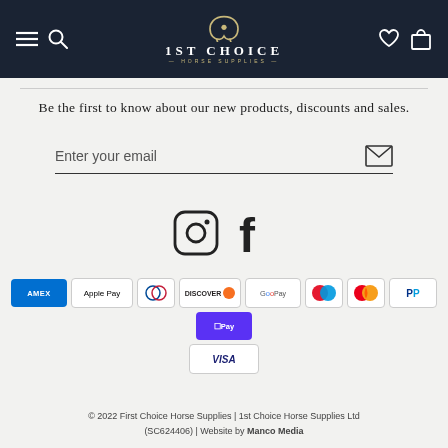[Figure (logo): 1st Choice Horse Supplies logo with horseshoe icon on dark navy header bar]
Be the first to know about our new products, discounts and sales.
Enter your email
[Figure (illustration): Instagram and Facebook social media icons]
[Figure (infographic): Payment method badges: American Express, Apple Pay, Diners Club, Discover, Google Pay, Maestro, Mastercard, PayPal, Shop Pay, Visa]
© 2022 First Choice Horse Supplies | 1st Choice Horse Supplies Ltd (SC624406) | Website by Manco Media